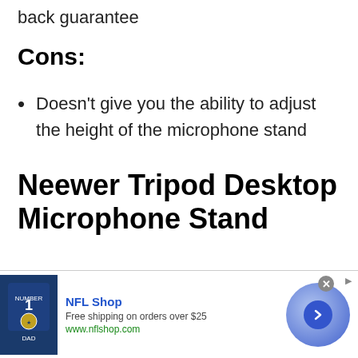back guarantee
Cons:
Doesn't give you the ability to adjust the height of the microphone stand
Neewer Tripod Desktop Microphone Stand
[Figure (infographic): NFL Shop advertisement banner with Dallas Cowboys jersey image, NFL Shop title, Free shipping on orders over $25 text, www.nflshop.com URL, a large blue circular arrow button, and a close (X) button.]